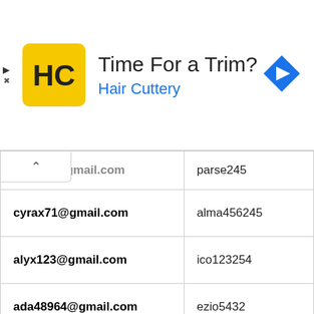[Figure (other): Advertisement banner for Hair Cuttery with logo, tagline 'Time For a Trim?', 'Hair Cuttery' text in blue, navigation arrow icon on the right, and play/close controls on the left.]
| jxynixo@gmail.com | parse245 |
| cyrax71@gmail.com | alma456245 |
| alyx123@gmail.com | ico123254 |
| ada48964@gmail.com | ezio5432 |
| thesickness2@gmail.com | vyse1452 |
| hulk542963@gmail.com | ark356331 |
| shodan415@gmail.com | logan532 |
| nix216453@gmail.com | jorahmormo |